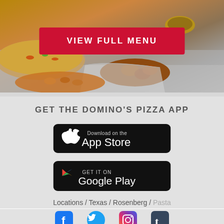[Figure (photo): Food photo showing pizza, chicken wings, and other Domino's menu items on a metal surface]
VIEW FULL MENU
GET THE DOMINO'S PIZZA APP
[Figure (screenshot): Download on the App Store button (black rounded rectangle with Apple logo)]
[Figure (screenshot): GET IT ON Google Play button (black rounded rectangle with Google Play logo)]
Locations / Texas / Rosenberg / Pasta
[Figure (illustration): Social media icons: Facebook, Twitter, Instagram, Tumblr]